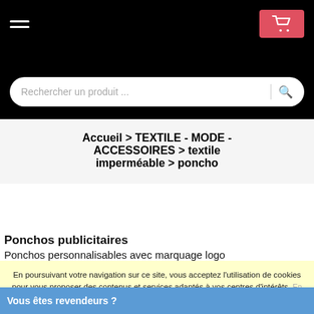Navigation bar with hamburger menu and cart button
Rechercher un produit ...
Accueil > TEXTILE - MODE - ACCESSOIRES > textile imperméable > poncho
Ponchos publicitaires
Ponchos personnalisables avec marquage logo
En poursuivant votre navigation sur ce site, vous acceptez l'utilisation de cookies pour vous proposer des contenus et services adaptés à vos centres d'intérêts.
Vous êtes revendeurs ?